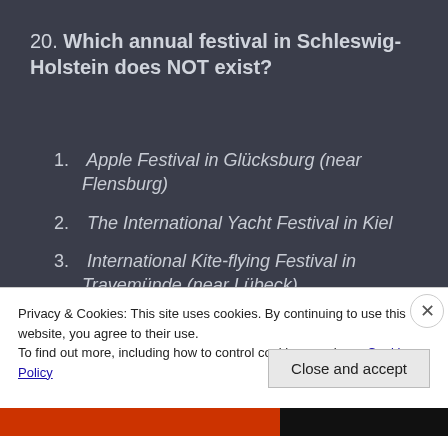20. Which annual festival in Schleswig-Holstein does NOT exist?
1. Apple Festival in Glücksburg (near Flensburg)
2. The International Yacht Festival in Kiel
3. International Kite-flying Festival in Travemünde (near Lübeck)
4. Crocus Flower Pagent in Husum
5. Tulip Festival in Friedrichstadt
Privacy & Cookies: This site uses cookies. By continuing to use this website, you agree to their use.
To find out more, including how to control cookies, see here: Cookie Policy
Close and accept